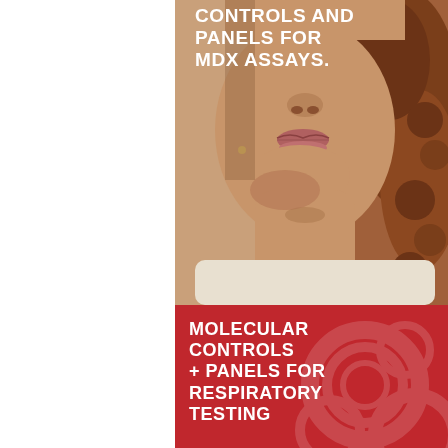[Figure (photo): Close-up portrait of a woman with curly reddish-brown hair, showing the lower half of her face — lips, chin, neck and shoulder area. She wears a small earring. The background is the photo itself.]
CONTROLS AND PANELS FOR MDX ASSAYS.
MOLECULAR CONTROLS + PANELS FOR RESPIRATORY TESTING